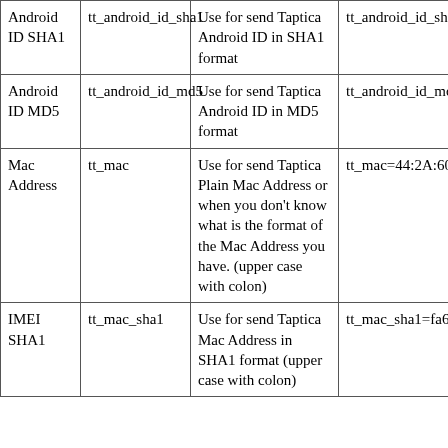|  | Parameter | Description | Example |
| --- | --- | --- | --- |
| Android ID SHA1 | tt_android_id_sha1 | Use for send Taptica Android ID in SHA1 format | tt_android_id_sha1= |
| Android ID MD5 | tt_android_id_md5 | Use for send Taptica Android ID in MD5 format | tt_android_id_md5= |
| Mac Address | tt_mac | Use for send Taptica Plain Mac Address or when you don’t know what is the format of the Mac Address you have. (upper case with colon) | tt_mac=44:2A:60:G5 |
| IMEI SHA1 | tt_mac_sha1 | Use for send Taptica Mac Address in SHA1 format (upper case with colon) | tt_mac_sha1=fa6bb0 |